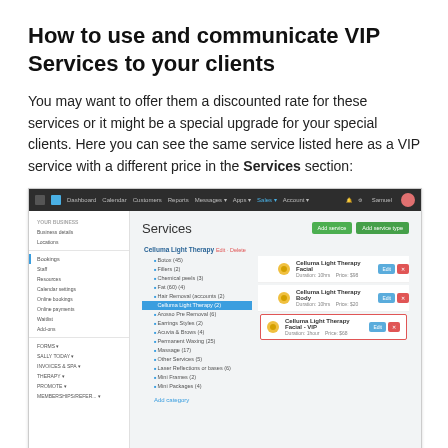How to use and communicate VIP Services to your clients
You may want to offer them a discounted rate for these services or it might be a special upgrade for your special clients. Here you can see the same service listed here as a VIP service with a different price in the Services section:
[Figure (screenshot): Screenshot of a booking software Services page showing a sidebar navigation on the left, a list of services in the center including 'Celluma Light Therapy Facial', 'Celluma Light Therapy Body', and a highlighted entry 'Celluma Light Therapy Facial - VIP' with a red border, plus green Add and Edit buttons.]
When a VIP client is logged in and using your online booking